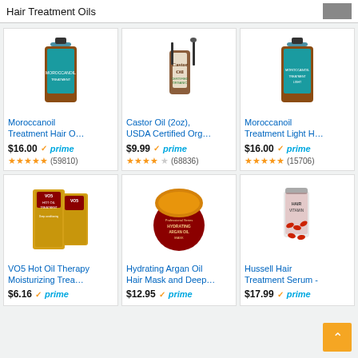Hair Treatment Oils
[Figure (photo): Moroccanoil Treatment Hair Oil bottle]
Moroccanoil Treatment Hair O…
$16.00 prime (59810)
[Figure (photo): Castor Oil 2oz bottle with dropper and brush]
Castor Oil (2oz), USDA Certified Org…
$9.99 prime (68836)
[Figure (photo): Moroccanoil Treatment Light Hair bottle]
Moroccanoil Treatment Light H…
$16.00 prime (15706)
[Figure (photo): VO5 Hot Oil Treatment packets]
VO5 Hot Oil Therapy Moisturizing Trea…
$6.16 prime
[Figure (photo): Hydrating Argan Oil Hair Mask jar]
Hydrating Argan Oil Hair Mask and Deep…
$12.95 prime
[Figure (photo): Hussell Hair Treatment Serum capsules bottle]
Hussell Hair Treatment Serum -
$17.99 prime